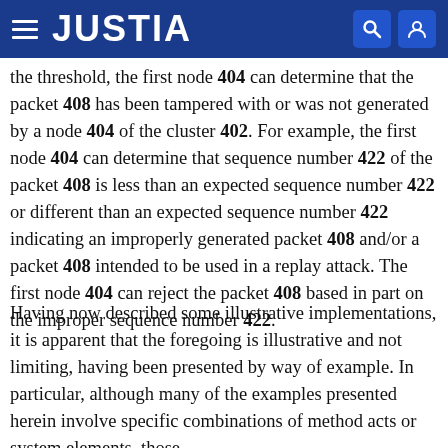JUSTIA
the threshold, the first node 404 can determine that the packet 408 has been tampered with or was not generated by a node 404 of the cluster 402. For example, the first node 404 can determine that sequence number 422 of the packet 408 is less than an expected sequence number 422 or different than an expected sequence number 422 indicating an improperly generated packet 408 and/or a packet 408 intended to be used in a replay attack. The first node 404 can reject the packet 408 based in part on the improper sequence number 422.
Having now described some illustrative implementations, it is apparent that the foregoing is illustrative and not limiting, having been presented by way of example. In particular, although many of the examples presented herein involve specific combinations of method acts or system elements, those